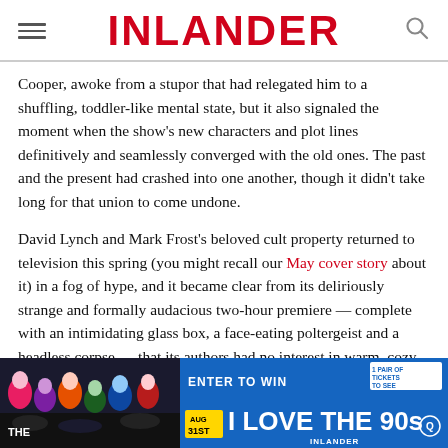INLANDER
Cooper, awoke from a stupor that had relegated him to a shuffling, toddler-like mental state, but it also signaled the moment when the show's new characters and plot lines definitively and seamlessly converged with the old ones. The past and the present had crashed into one another, though it didn't take long for that union to come undone.
David Lynch and Mark Frost's beloved cult property returned to television this spring (you might recall our May cover story about it) in a fog of hype, and it became clear from its deliriously strange and formally audacious two-hour premiere — complete with an intimidating glass box, a face-eating poltergeist and a headless corpse — that its authors had no interest in warm, cozy nostalgia. They had blown up their creation, and they were in no hurry to put the pieces back together.
[Figure (other): Advertisement banner: ENTER TO WIN — I LOVE THE 90s, AUG 31st, with crowd photo and Inlander logo]